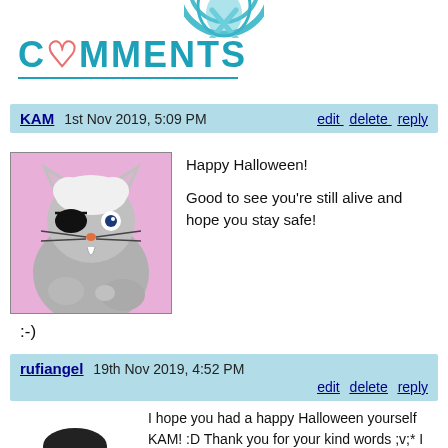[Figure (illustration): Partial teal/blue circular logo at top center, partially cropped]
COMMENTS
KAM   1st Nov 2019, 5:09 PM   edit delete reply
[Figure (illustration): Cartoon grey cat character with white hair, eye patch, whiskers, on pink background — avatar for KAM]
Happy Halloween!

Good to see you're still alive and hope you stay safe!
:-)
rufiangel   19th Nov 2019, 4:52 PM   edit delete reply
[Figure (illustration): Cartoon girl with dark hair and red outfit eating something, with small orange/yellow items floating nearby — avatar for rufiangel]
I hope you had a happy Halloween yourself KAM! :D Thank you for your kind words ;v;* I will